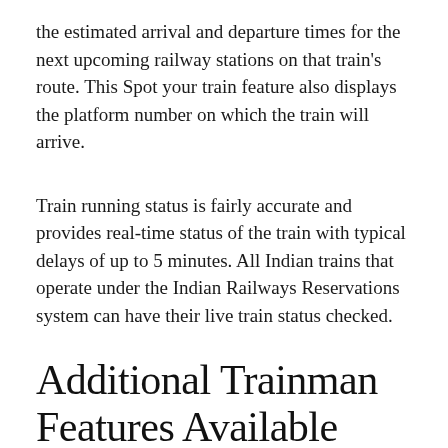the estimated arrival and departure times for the next upcoming railway stations on that train's route. This Spot your train feature also displays the platform number on which the train will arrive.
Train running status is fairly accurate and provides real-time status of the train with typical delays of up to 5 minutes. All Indian trains that operate under the Indian Railways Reservations system can have their live train status checked.
Additional Trainman Features Available While Checking Live Train